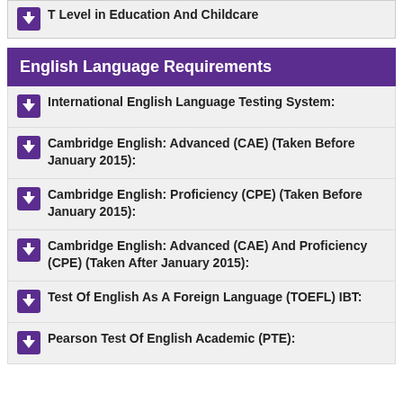T Level in Education And Childcare
English Language Requirements
International English Language Testing System:
Cambridge English: Advanced (CAE) (Taken Before January 2015):
Cambridge English: Proficiency (CPE) (Taken Before January 2015):
Cambridge English: Advanced (CAE) And Proficiency (CPE) (Taken After January 2015):
Test Of English As A Foreign Language (TOEFL) IBT:
Pearson Test Of English Academic (PTE):